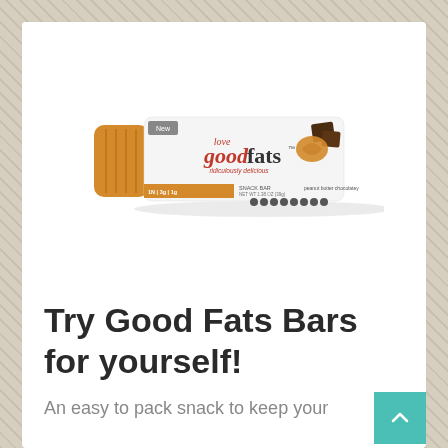[Figure (photo): Love Good Fats snack bar product photo — peanut butter chocolatey flavor with 'New' label. White bar wrapper with orange end, shows chocolate pieces and peanut butter swirl.]
Try Good Fats Bars for yourself!
An easy to pack snack to keep your